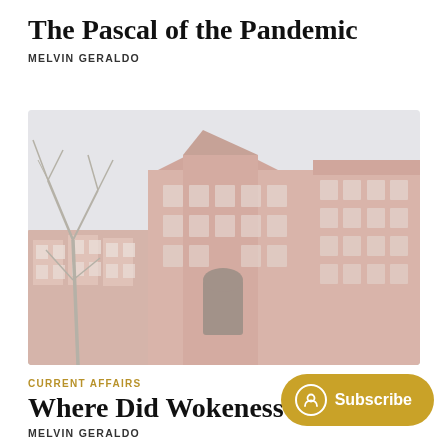The Pascal of the Pandemic
MELVIN GERALDO
[Figure (photo): Photograph of a red-brick Victorian-era university building with bare trees in the foreground, viewed at an angle showing the ornate facade and arched entryway. The image has a washed-out, faded quality with muted pinkish and grey tones.]
CURRENT AFFAIRS
Where Did Wokeness Co
MELVIN GERALDO